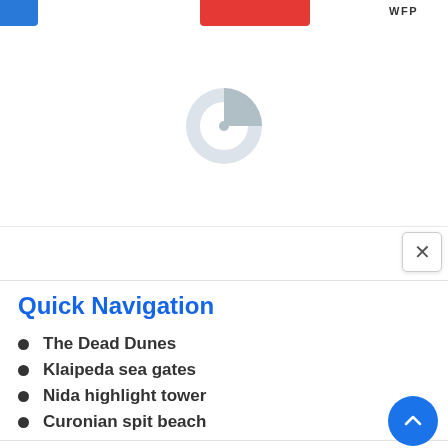WFP
[Figure (screenshot): Browser loading spinner / partial page load indicator showing a grey crescent/pac-man loading icon centered in a white area]
[Figure (screenshot): Close (X) button in top-right corner of a modal or overlay]
Quick Navigation
The Dead Dunes
Klaipeda sea gates
Nida highlight tower
Curonian spit beach
The Dead Dunes
Located between villages of Pervalka and Juodkrantė, the Dead